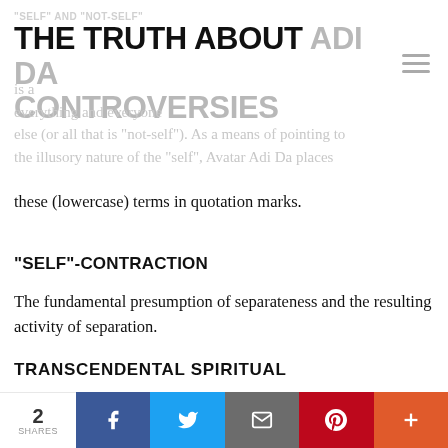"SELF" AND "NOT-SELF"
THE TRUTH ABOUT ADI DA CONTROVERSIES
these (lowercase) terms in quotation marks.
“SELF”-CONTRACTION
The fundamental presumption of separateness and the resulting activity of separation.
TRANSCENDENTAL SPIRITUAL
A reference used by Avatar Adi Da indicating the unique nature of the process in his Avataric Company.
2 SHARES | Facebook | Twitter | Email | Pinterest | More